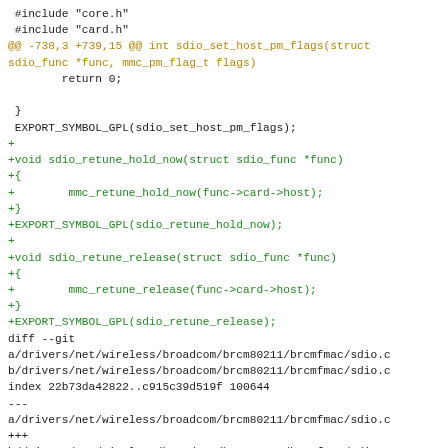Code diff showing additions of sdio_retune_hold_now and sdio_retune_release functions, followed by a diff --git header for sdio.c file changes with hunk @@ -679,6 +679,11 @@ brcmf_sdio_kso_control